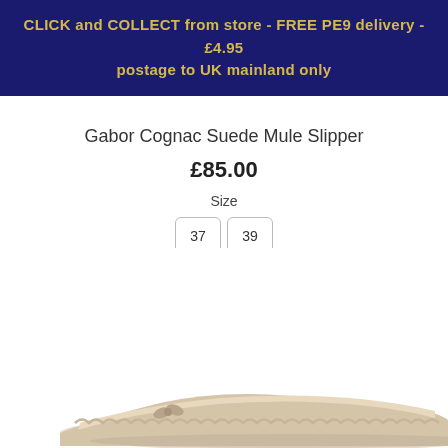CLICK and COLLECT from store - FREE PE9 delivery - £4.95 postage to UK mainland only
Gabor Cognac Suede Mule Slipper
£85.00
Size
37   39
[Figure (photo): A cream/ivory suede mule slipper with scalloped edge trim and small bow detail, photographed from a slight angle showing the front and side of the shoe against a white background.]